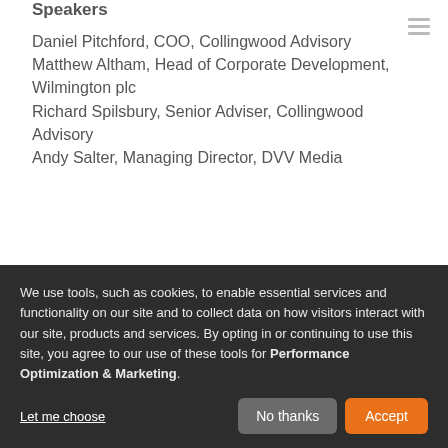Speakers
Daniel Pitchford, COO, Collingwood Advisory
Matthew Altham, Head of Corporate Development, Wilmington plc
Richard Spilsbury, Senior Adviser, Collingwood Advisory
Andy Salter, Managing Director, DVV Media
Markets, Valuation, and Investor Confidence
The market landscape, the key actions and...
We use tools, such as cookies, to enable essential services and functionality on our site and to collect data on how visitors interact with our site, products and services. By opting in or continuing to use this site, you agree to our use of these tools for Performance Optimization & Marketing.
Let me choose
No thanks
Accept